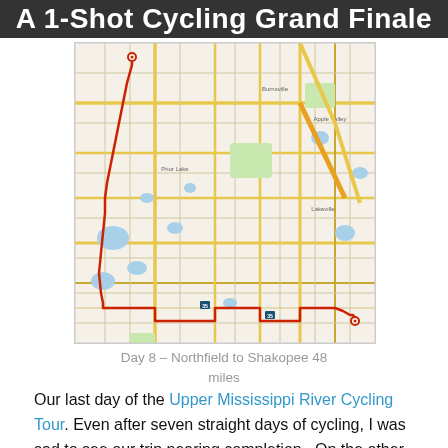A 1-Shot Cycling Grand Finale
[Figure (map): Google Maps route map showing a cycling route from Northfield to Shakopee, Minnesota, with a red line tracing the path across suburban streets and roads. The map shows roads, lakes, and landmarks in the Minneapolis-St. Paul metro area south suburbs.]
Day 8 – Northfield to Shakopee 48 miles
Our last day of the Upper Mississippi River Cycling Tour. Even after seven straight days of cycling, I was sad to see our trip nearing completion. On the other hand, I was eagerly looking forward to the 30th Wedding Anniversary